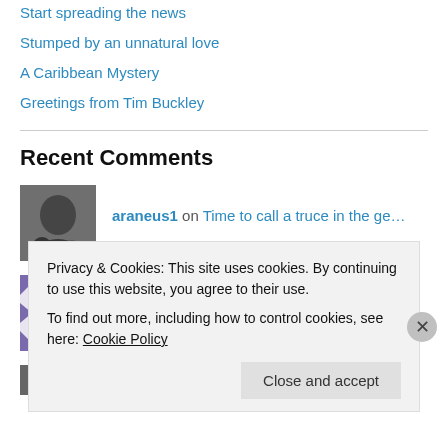Start spreading the news
Stumped by an unnatural love
A Caribbean Mystery
Greetings from Tim Buckley
Recent Comments
araneus1 on Time to call a truce in the ge…
Crispy on Time to call a truce in the ge…
Privacy & Cookies: This site uses cookies. By continuing to use this website, you agree to their use. To find out more, including how to control cookies, see here: Cookie Policy
Close and accept